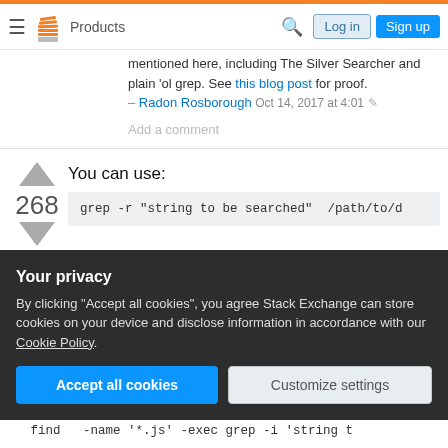Stack Exchange — Products | Log in | Sign up
mentioned here, including The Silver Searcher and plain 'ol grep. See this blog post for proof.
– Radon Rosborough Oct 14, 2017 at 4:01
Add a comment
You can use:
grep -r "string to be searched"  /path/to/d
The r stands for recursive and so will search in the path specified and also its sub-directories. This will
Your privacy
By clicking "Accept all cookies", you agree Stack Exchange can store cookies on your device and disclose information in accordance with our Cookie Policy.
Accept all cookies | Customize settings
find   -name '*.js' -exec grep -i 'string t